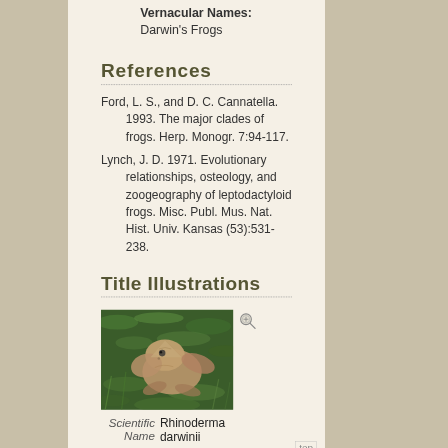Vernacular Names:
Darwin's Frogs
References
Ford, L. S., and D. C. Cannatella. 1993. The major clades of frogs. Herp. Monogr. 7:94-117.
Lynch, J. D. 1971. Evolutionary relationships, osteology, and zoogeography of leptodactyloid frogs. Misc. Publ. Mus. Nat. Hist. Univ. Kansas (53):531-238.
Title Illustrations
[Figure (photo): Photo of a Darwin's Frog (Rhinoderma darwinii) - a small brown frog on green moss]
Scientific Name: Rhinoderma darwinii
Specimen Condition: Live Specimen
Source: "Sapito de Darwin" Rhinoderma darwinii
Source Collection: Flickr